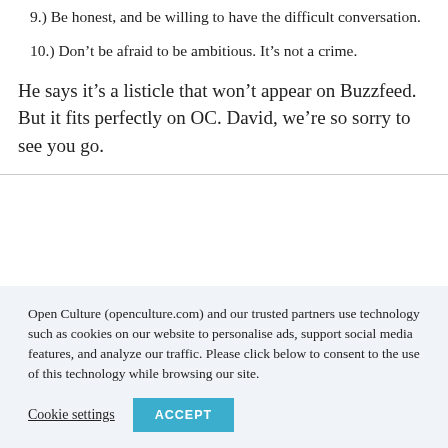9.) Be honest, and be willing to have the difficult conversation.
10.) Don’t be afraid to be ambitious. It’s not a crime.
He says it’s a listicle that won’t appear on Buzzfeed. But it fits perfectly on OC. David, we’re so sorry to see you go.
Open Culture (openculture.com) and our trusted partners use technology such as cookies on our website to personalise ads, support social media features, and analyze our traffic. Please click below to consent to the use of this technology while browsing our site.
Cookie settings   ACCEPT